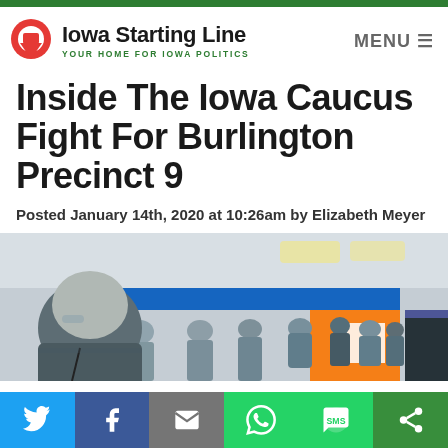Iowa Starting Line — YOUR HOME FOR IOWA POLITICS
Inside The Iowa Caucus Fight For Burlington Precinct 9
Posted January 14th, 2020 at 10:26am by Elizabeth Meyer
[Figure (photo): Photo of people gathered inside a school gymnasium or community center for an Iowa caucus, showing attendees standing in a crowded room with blue and yellow walls.]
Share buttons: Twitter, Facebook, Email, WhatsApp, SMS, Other